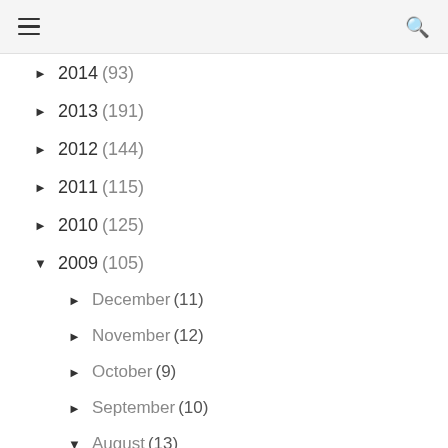☰ 🔍
► 2014 (93)
► 2013 (191)
► 2012 (144)
► 2011 (115)
► 2010 (125)
▼ 2009 (105)
► December (11)
► November (12)
► October (9)
► September (10)
▼ August (13)
Kawaii Style
DIY Ideas & Links